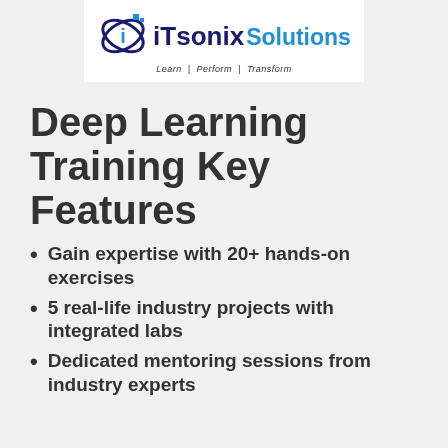[Figure (logo): iTsonix Solutions logo with tagline 'Learn | Perform | Transform']
Deep Learning Training Key Features
Gain expertise with 20+ hands-on exercises
5 real-life industry projects with integrated labs
Dedicated mentoring sessions from industry experts